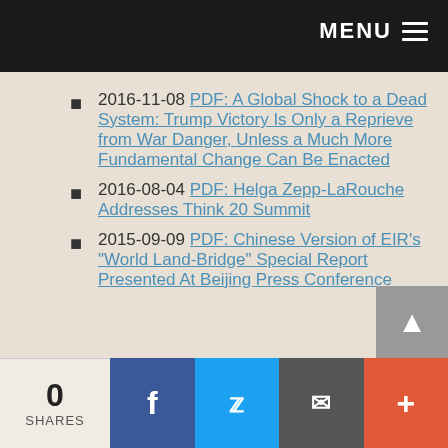MENU
2016-11-08 PDF: A Global Shock to a Dead System: Trump Victory Is Only a Reprieve from War Danger, Unless a Much More Fundamental Change Can Be Enacted
2016-08-04 PDF: Helga Zepp-LaRouche Addresses Think 20 Summit
2015-09-09 PDF: Chinese Version of EIR's "World Land-Bridge" Special Report Presented At Beijing Press Conference
0 SHARES